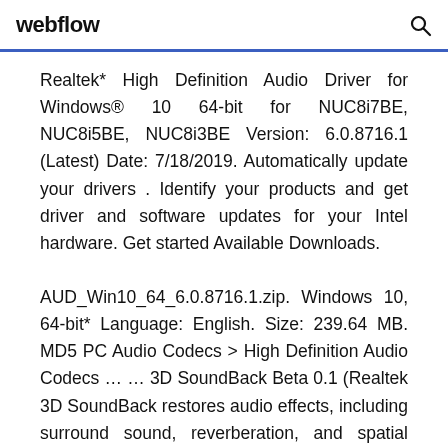webflow
Realtek* High Definition Audio Driver for Windows® 10 64-bit for NUC8i7BE, NUC8i5BE, NUC8i3BE Version: 6.0.8716.1 (Latest) Date: 7/18/2019. Automatically update your drivers . Identify your products and get driver and software updates for your Intel hardware. Get started Available Downloads. AUD_Win10_64_6.0.8716.1.zip. Windows 10, 64-bit* Language: English. Size: 239.64 MB. MD5 PC Audio Codecs > High Definition Audio Codecs … … 3D SoundBack Beta 0.1 (Realtek 3D SoundBack restores audio effects, including surround sound, reverberation, and spatial effects, for legacy game titles when running on Windows Vista.) Beta 0.1 2008/07/15 6 MB